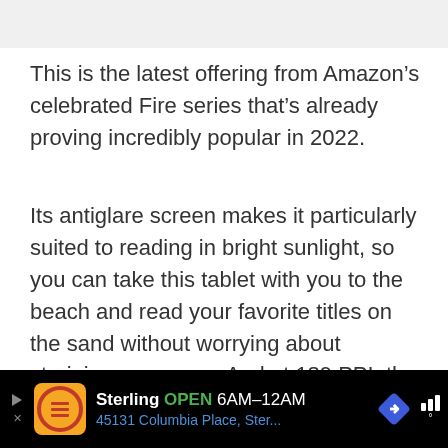[Figure (screenshot): Gray bar at top of page, partial screenshot of a web article]
This is the latest offering from Amazon’s celebrated Fire series that’s already proving incredibly popular in 2022.
Its antiglare screen makes it particularly suited to reading in bright sunlight, so you can take this tablet with you to the beach and read your favorite titles on the sand without worrying about straining your eyes. And at 189 PPI, the screen also has a good resolution, so words and images appear crisp and sharp.
[Figure (screenshot): Dark/black image area at the bottom of the article content]
[Figure (screenshot): Advertisement banner at bottom: Sterling OPEN 6AM-12AM, 45131 Columbia Place, Ster...]